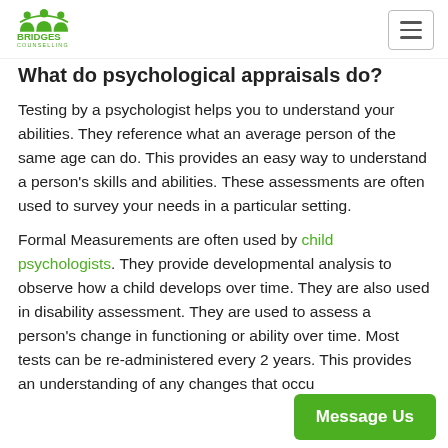Bridges Counselling
What do psychological appraisals do?
Testing by a psychologist helps you to understand your abilities. They reference what an average person of the same age can do. This provides an easy way to understand a person's skills and abilities. These assessments are often used to survey your needs in a particular setting.
Formal Measurements are often used by child psychologists. They provide developmental analysis to observe how a child develops over time. They are also used in disability assessment. They are used to assess a person's change in functioning or ability over time. Most tests can be re-administered every 2 years. This provides an understanding of any changes that occu...